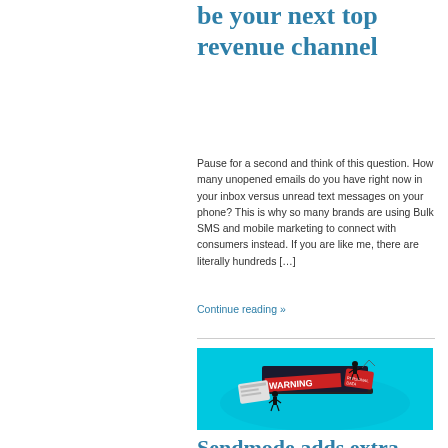be your next top revenue channel
Pause for a second and think of this question. How many unopened emails do you have right now in your inbox versus unread text messages on your phone? This is why so many brands are using Bulk SMS and mobile marketing to connect with consumers instead. If you are like me, there are literally hundreds […]
Continue reading »
[Figure (illustration): Cybersecurity warning illustration showing hacker figures with a laptop displaying a WARNING sign and personal data cards on a teal/cyan background]
Sendmode adds extra